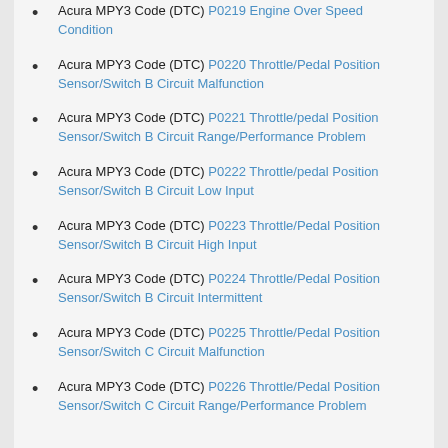Acura MPY3 Code (DTC) P0219 Engine Over Speed Condition
Acura MPY3 Code (DTC) P0220 Throttle/Pedal Position Sensor/Switch B Circuit Malfunction
Acura MPY3 Code (DTC) P0221 Throttle/pedal Position Sensor/Switch B Circuit Range/Performance Problem
Acura MPY3 Code (DTC) P0222 Throttle/pedal Position Sensor/Switch B Circuit Low Input
Acura MPY3 Code (DTC) P0223 Throttle/Pedal Position Sensor/Switch B Circuit High Input
Acura MPY3 Code (DTC) P0224 Throttle/Pedal Position Sensor/Switch B Circuit Intermittent
Acura MPY3 Code (DTC) P0225 Throttle/Pedal Position Sensor/Switch C Circuit Malfunction
Acura MPY3 Code (DTC) P0226 Throttle/Pedal Position Sensor/Switch C Circuit Range/Performance Problem